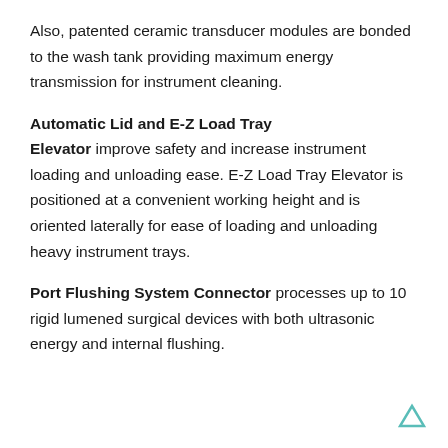Also, patented ceramic transducer modules are bonded to the wash tank providing maximum energy transmission for instrument cleaning.
Automatic Lid and E-Z Load Tray Elevator
improve safety and increase instrument loading and unloading ease. E-Z Load Tray Elevator is positioned at a convenient working height and is oriented laterally for ease of loading and unloading heavy instrument trays.
Port Flushing System Connector
processes up to 10 rigid lumened surgical devices with both ultrasonic energy and internal flushing.
[Figure (logo): Small teal/cyan triangle logo mark in bottom right corner]